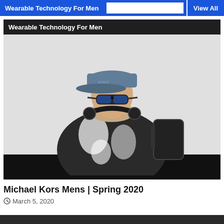Wearable Technology For Men | View All
Wearable Technology For Men
[Figure (photo): Young man wearing blue cap, blue mirrored sunglasses, headphones around neck, black and white patterned jacket, carrying a dark backpack, photographed against a light background.]
Michael Kors Mens | Spring 2020
March 5, 2020